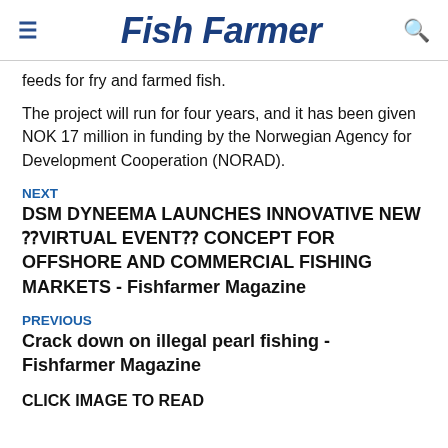Fish Farmer
feeds for fry and farmed fish.
The project will run for four years, and it has been given NOK 17 million in funding by the Norwegian Agency for Development Cooperation (NORAD).
NEXT
DSM DYNEEMA LAUNCHES INNOVATIVE NEW ⁇VIRTUAL EVENT⁇ CONCEPT FOR OFFSHORE AND COMMERCIAL FISHING MARKETS - Fishfarmer Magazine
PREVIOUS
Crack down on illegal pearl fishing - Fishfarmer Magazine
CLICK IMAGE TO READ